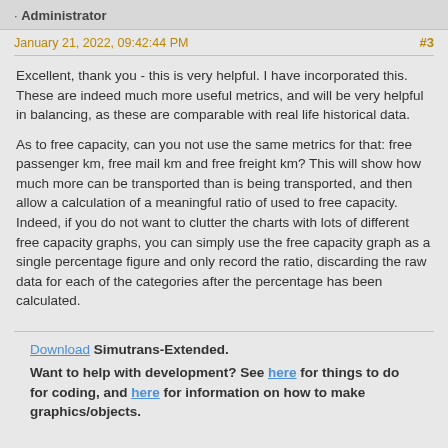· Administrator
January 21, 2022, 09:42:44 PM   #3
Excellent, thank you - this is very helpful. I have incorporated this. These are indeed much more useful metrics, and will be very helpful in balancing, as these are comparable with real life historical data.
As to free capacity, can you not use the same metrics for that: free passenger km, free mail km and free freight km? This will show how much more can be transported than is being transported, and then allow a calculation of a meaningful ratio of used to free capacity. Indeed, if you do not want to clutter the charts with lots of different free capacity graphs, you can simply use the free capacity graph as a single percentage figure and only record the ratio, discarding the raw data for each of the categories after the percentage has been calculated.
Download Simutrans-Extended.
Want to help with development? See here for things to do for coding, and here for information on how to make graphics/objects.